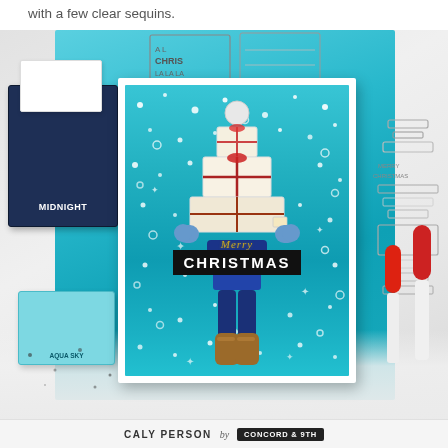with a few clear sequins.
[Figure (photo): Craft desk flat-lay photograph showing a Christmas card being made. The card features a person carrying a large stack of wrapped Christmas presents with 'CHRISTMAS' text on a black banner, set against a teal snowy background. Surrounding the card are navy 'MIDNIGHT' and aqua 'AQUA SKY' ink pads, clear acrylic stamps, and red-capped markers on a marble desk surface.]
CALY PERSON by CONCORD & 9TH